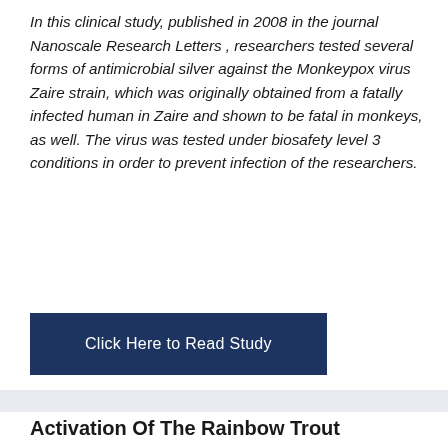In this clinical study, published in 2008 in the journal Nanoscale Research Letters , researchers tested several forms of antimicrobial silver against the Monkeypox virus Zaire strain, which was originally obtained from a fatally infected human in Zaire and shown to be fatal in monkeys, as well. The virus was tested under biosafety level 3 conditions in order to prevent infection of the researchers.
[Figure (other): Dark navy blue button labeled 'Click Here to Read Study']
Activation Of The Rainbow Trout